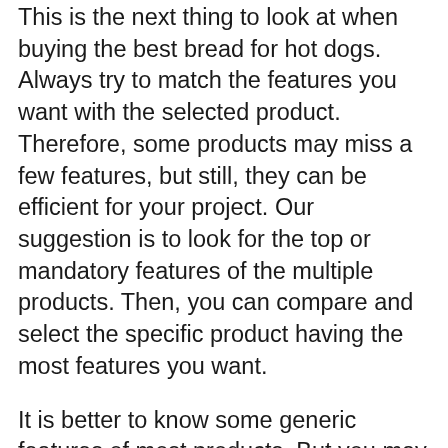This is the next thing to look at when buying the best bread for hot dogs. Always try to match the features you want with the selected product. Therefore, some products may miss a few features, but still, they can be efficient for your project. Our suggestion is to look for the top or mandatory features of the multiple products. Then, you can compare and select the specific product having the most features you want.
It is better to know some generic features of most products. But you may also prefer extra or unique features for better satisfaction. Thus, we have focused on top practical features in this review list with correct details. Now, save your time and enjoy buying the product.